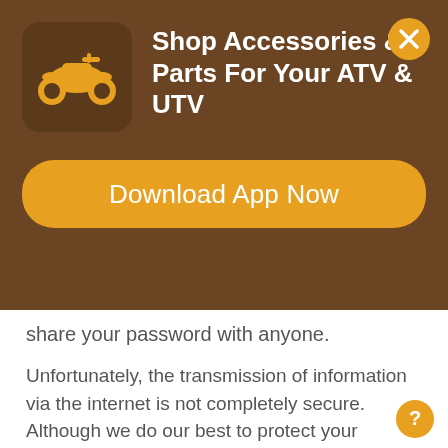[Figure (screenshot): Brown banner with ATV/UTV app advertisement. Contains an ATV icon image, title text 'Shop Accessories & Parts For Your ATV & UTV', a close (X) button in top-right corner, and a yellow 'Download App Now' button.]
Shop Accessories & Parts For Your ATV & UTV
Download App Now
share your password with anyone.
Unfortunately, the transmission of information via the internet is not completely secure. Although we do our best to protect your personal information, we cannot guarantee the security of your personal information transmitted to our website. Any transmission of personal information is at your own risk. We are not responsible for circumvention of any